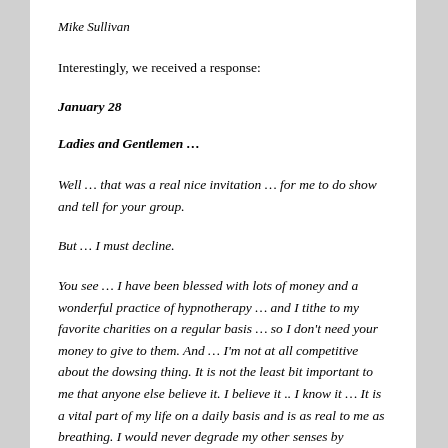Mike Sullivan
Interestingly, we received a response:
January 28
Ladies and Gentlemen …
Well … that was a real nice invitation … for me to do show and tell for your group.
But … I must decline.
You see … I have been blessed with lots of money and a wonderful practice of hypnotherapy … and I tithe to my favorite charities on a regular basis … so I don't need your money to give to them. And … I'm not at all competitive about the dowsing thing. It is not the least bit important to me that anyone else believe it. I believe it .. I know it … It is a vital part of my life on a daily basis and is as real to me as breathing. I would never degrade my other senses by proving to your group that I